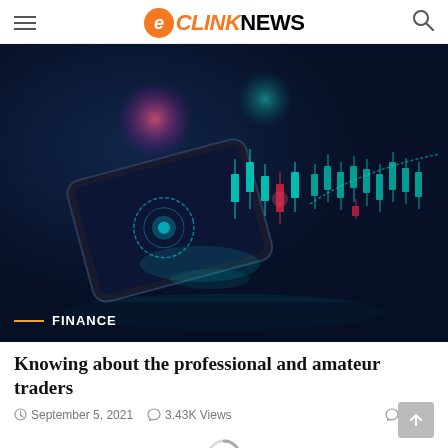eCLINKNEWS
[Figure (illustration): Dark blue background with a smartphone displaying financial trading charts, candlestick patterns in cyan/teal, glowing orbs in pink/teal, holographic UI elements. FINANCE label with orange line in bottom-left corner.]
Knowing about the professional and amateur traders
September 5, 2021   3.43K Views   3.43K